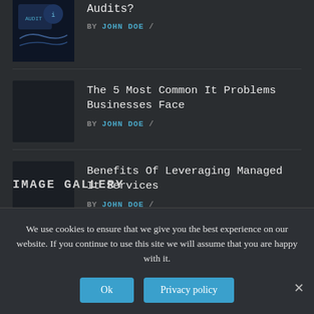Audits?
BY JOHN DOE /
The 5 Most Common It Problems Businesses Face
BY JOHN DOE /
Benefits Of Leveraging Managed It Services
BY JOHN DOE /
IMAGE GALLERY
We use cookies to ensure that we give you the best experience on our website. If you continue to use this site we will assume that you are happy with it.